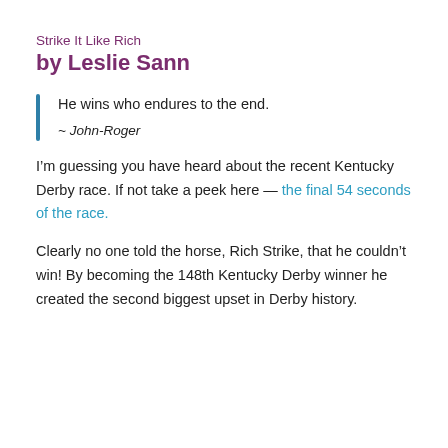Strike It Like Rich
by Leslie Sann
He wins who endures to the end.
~ John-Roger
I’m guessing you have heard about the recent Kentucky Derby race. If not take a peek here — the final 54 seconds of the race.
Clearly no one told the horse, Rich Strike, that he couldn’t win! By becoming the 148th Kentucky Derby winner he created the second biggest upset in Derby history.